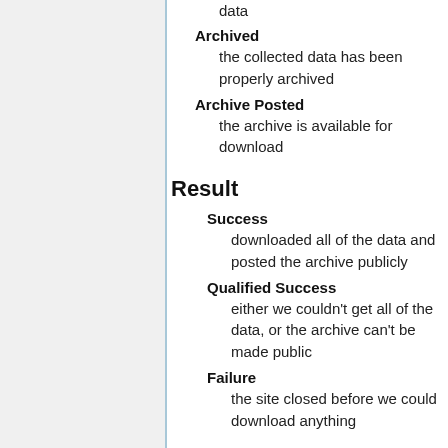data
Archived
the collected data has been properly archived
Archive Posted
the archive is available for download
Result
Success
downloaded all of the data and posted the archive publicly
Qualified Success
either we couldn't get all of the data, or the archive can't be made public
Failure
the site closed before we could download anything